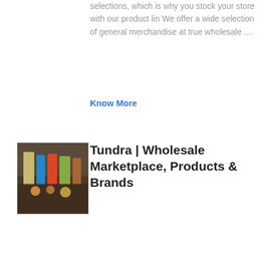selections, which is why you stock your store with our product lin We offer a wide selection of general merchandise at true wholesale ....
Know More
[Figure (photo): Thumbnail image of wholesale products - bottles and goods in a store setting]
Tundra | Wholesale Marketplace, Products & Brands
Buy amazing products at real wholesale prices direct from 1000s of unique brands! Net terms, free shipping within the continental US and Canadian provinces, and thousands of product reviews...
Know More
[Figure (photo): Thumbnail image showing industrial or warehouse building structure]
wholesale gifts for resale - withextradinosaurs